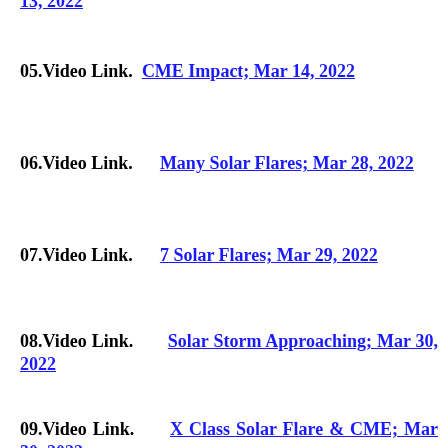05.Video Link.  CME Impact; Mar 14, 2022
06.Video Link.      Many Solar Flares; Mar 28, 2022
07.Video Link.      7 Solar Flares; Mar 29, 2022
08.Video Link.       Solar Storm Approaching; Mar 30, 2022
09.Video Link.      X Class Solar Flare & CME; Mar 30, 2022